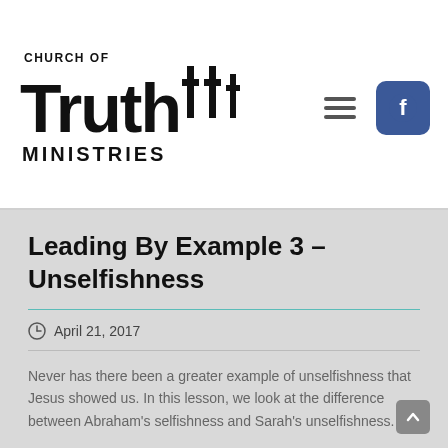[Figure (logo): Church of Truth Ministries logo with crosses, left side of header]
[Figure (logo): Facebook icon button, blue rounded square, top right of header]
Leading By Example 3 – Unselfishness
April 21, 2017
Never has there been a greater example of unselfishness that Jesus showed us. In this lesson, we look at the difference between Abraham's selfishness and Sarah's unselfishness.